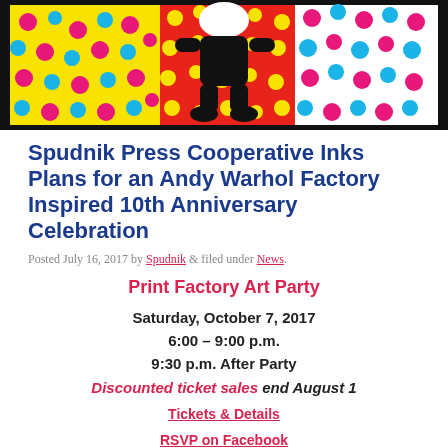[Figure (illustration): Colorful pop-art style illustration with yellow, red, blue/white polka dot patterns and a black cartoon figure silhouette in the center, framed by a thick black border]
Spudnik Press Cooperative Inks Plans for an Andy Warhol Factory Inspired 10th Anniversary Celebration
Posted July 16, 2017 by Spudnik & filed under News.
Print Factory Art Party
Saturday, October 7, 2017
6:00 – 9:00 p.m.
9:30 p.m. After Party
Discounted ticket sales end August 1
Tickets & Details
RSVP on Facebook